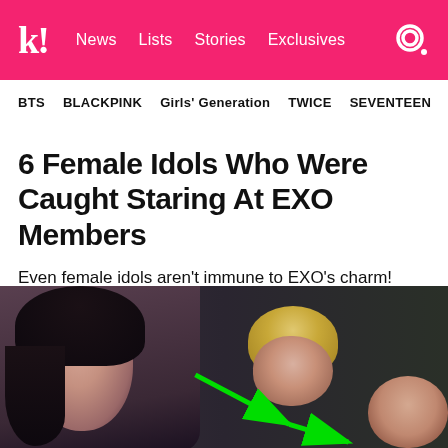Koreaboo — News | Lists | Stories | Exclusives
BTS  BLACKPINK  Girls' Generation  TWICE  SEVENTEEN
6 Female Idols Who Were Caught Staring At EXO Members
Even female idols aren't immune to EXO's charm!
[Figure (photo): A female idol (dark hair) looking toward EXO members, with a green arrow annotation pointing at the target person, who has blonde hair. Another person visible at right edge.]